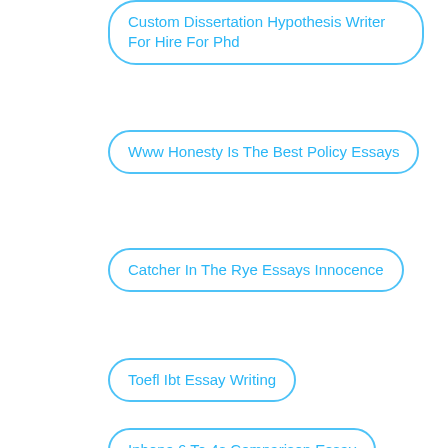Custom Dissertation Hypothesis Writer For Hire For Phd
Www Honesty Is The Best Policy Essays
Catcher In The Rye Essays Innocence
Toefl Ibt Essay Writing
Iphone 6 To 4s Comparison Essay
Why Is Person Centred Care Important Essay
Essay About Disadvantages Of Smoking